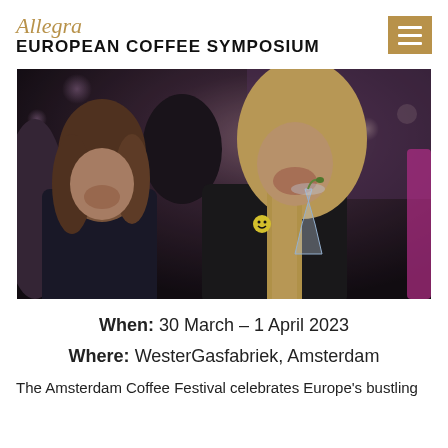Allegra EUROPEAN COFFEE SYMPOSIUM
[Figure (photo): Two women at an event, one with long blonde hair holding a champagne flute with a garnish, both smiling, dark ambient background with bokeh lighting suggesting an indoor evening event.]
When: 30 March – 1 April 2023
Where: WesterGasfabriek, Amsterdam
The Amsterdam Coffee Festival celebrates Europe's bustling